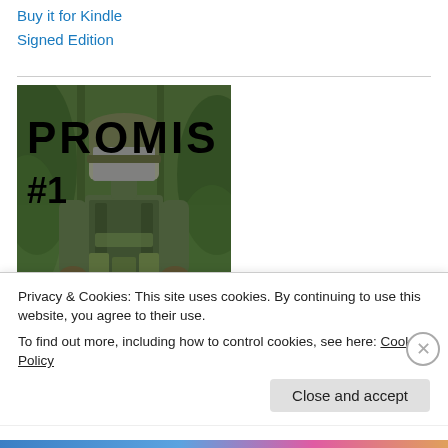Buy it for Kindle
Signed Edition
[Figure (illustration): Book cover for PROMIS #1 showing a soldier in full military gear and camouflage in a forest setting, face blurred/censored, with bold text PROMIS #1 overlaid on the image]
Privacy & Cookies: This site uses cookies. By continuing to use this website, you agree to their use.
To find out more, including how to control cookies, see here: Cookie Policy
Close and accept